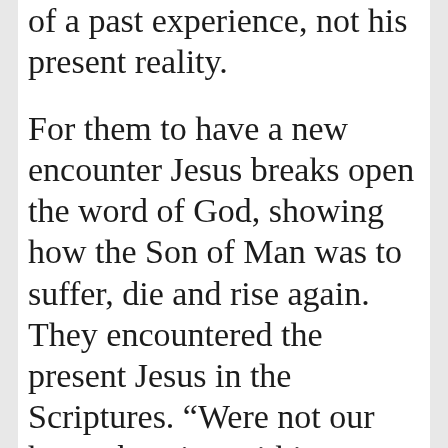of a past experience, not his present reality.
For them to have a new encounter Jesus breaks open the word of God, showing how the Son of Man was to suffer, die and rise again. They encountered the present Jesus in the Scriptures. “Were not our hearts burning within us as he explained the scriptures?” But the scriptures were not enough alone. It was in the breaking of the bread that their eyes of faith were opened to the present reality of Jesus, the risen Savior. This new